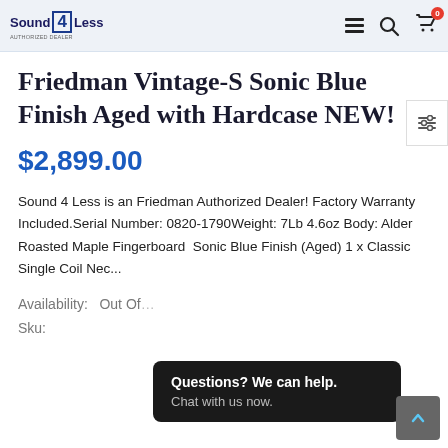Sound 4 Less — navigation header with hamburger, search, and cart icons
Friedman Vintage-S Sonic Blue Finish Aged with Hardcase NEW!
$2,899.00
Sound 4 Less is an Friedman Authorized Dealer! Factory Warranty Included.Serial Number: 0820-1790Weight: 7Lb 4.6oz Body: Alder Roasted Maple Fingerboard  Sonic Blue Finish (Aged) 1 x Classic Single Coil Nec...
Availability:   Out Of...
Sku:
Questions? We can help.
Chat with us now.